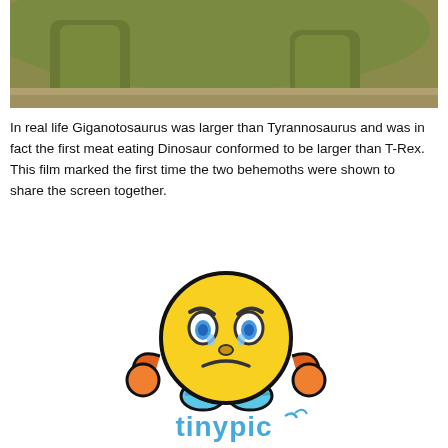[Figure (photo): Cropped animation still showing green dinosaur legs and feet (Giganotosaurus) on sandy ground, from an animated film]
In real life Giganotosaurus was larger than Tyrannosaurus and was in fact the first meat eating Dinosaur conformed to be larger than T-Rex. This film marked the first time the two behemoths were shown to share the screen together.
[Figure (logo): Tinypic logo: a yellow sad-face emoji character with orange ear-muffs, blue feet/hands, thick black outline, and the word 'tinypic' in blue bubbly letters below]